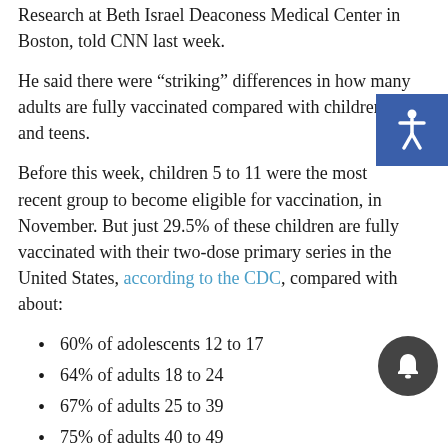Research at Beth Israel Deaconess Medical Center in Boston, told CNN last week.
He said there were “striking” differences in how many adults are fully vaccinated compared with children and teens.
Before this week, children 5 to 11 were the most recent group to become eligible for vaccination, in November. But just 29.5% of these children are fully vaccinated with their two-dose primary series in the United States, according to the CDC, compared with about:
60% of adolescents 12 to 17
64% of adults 18 to 24
67% of adults 25 to 39
75% of adults 40 to 49
82% of adults 50 to 64
94% of adults 65 to 74
88% of adults 75 and older